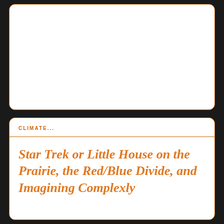CLIMATE...
Star Trek or Little House on the Prairie, the Red/Blue Divide, and Imagining Complexly